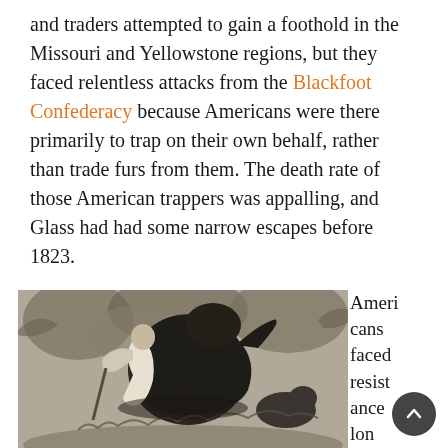and traders attempted to gain a foothold in the Missouri and Yellowstone regions, but they faced relentless attacks from the Blackfoot Confederacy because Americans were there primarily to trap on their own behalf, rather than trade furs from them. The death rate of those American trappers was appalling, and Glass had had some narrow escapes before 1823.
[Figure (illustration): Black and white engraving depicting a man being attacked by a large bear while another animal (possibly a wolf or dog) watches from behind. The scene is set in a wooded landscape. Historical illustration likely depicting Hugh Glass's bear attack.]
Americans faced resistance long before